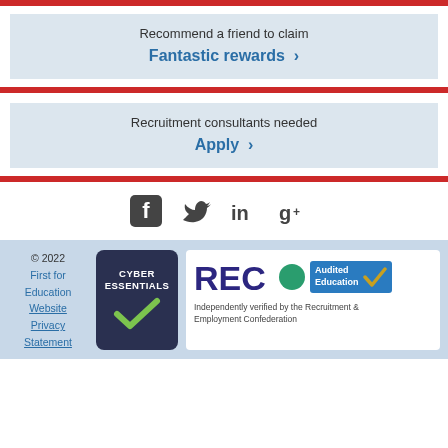Recommend a friend to claim
Fantastic rewards >
Recruitment consultants needed
Apply >
[Figure (infographic): Social media icons: Facebook, Twitter, LinkedIn, Google+]
[Figure (logo): Cyber Essentials badge with checkmark]
[Figure (logo): REC Audited Education badge - Independently verified by the Recruitment & Employment Confederation]
© 2022 First for Education Website Privacy Statement